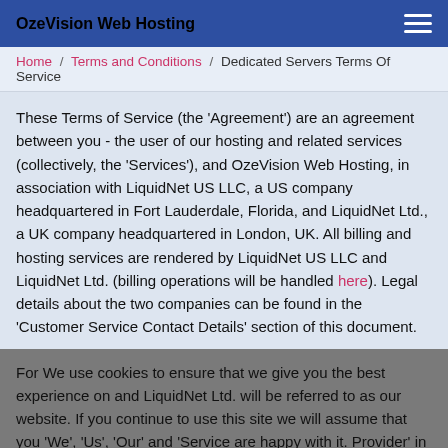OzeVision Web Hosting
Home / Terms and Conditions / Dedicated Servers Terms Of Service
These Terms of Service (the 'Agreement') are an agreement between you - the user of our hosting and related services (collectively, the 'Services'), and OzeVision Web Hosting, in association with LiquidNet US LLC, a US company headquartered in Fort Lauderdale, Florida, and LiquidNet Ltd., a UK company headquartered in London, UK. All billing and hosting services are rendered by LiquidNet US LLC and LiquidNet Ltd. (billing operations will be handled here). Legal details about the two companies can be found in the 'Customer Service Contact Details' section of this document.
For the purpose of this Agreement, OzeVision Web Hosting, LiquidNet US LLC and LiquidNet Ltd. will be referred to as 'We', 'Us', 'Our' and 'Service Provider' in this document.
When signing up for a Dedicated server hosting account with the Service Provider, the Customer...